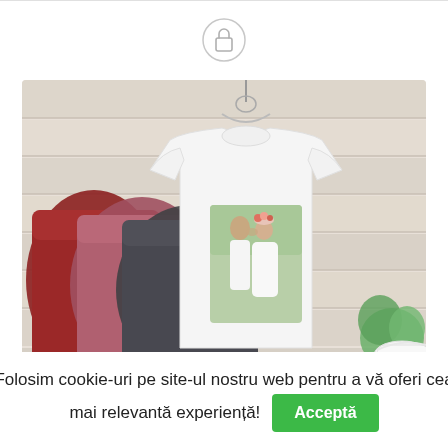[Figure (logo): Shopping bag / lock icon in a circle, light gray outline, centered near top of page]
[Figure (photo): Product photo of white custom-printed t-shirts hanging and stacked, with a wedding couple photo printed on the front. Additional colored shirts (red, maroon, dark gray) visible behind. Rustic wood background with greenery.]
Folosim cookie-uri pe site-ul nostru web pentru a vă oferi cea mai relevantă experiență!
Acceptă